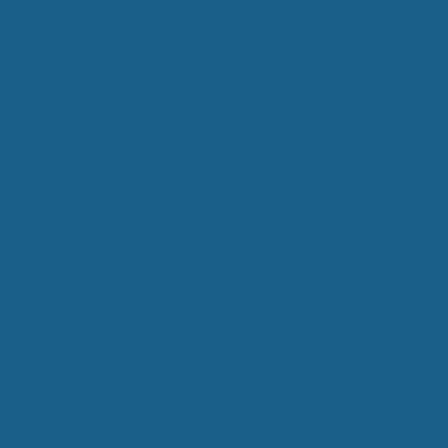11. Weekly Monitoring by Sr.DPO level on Complaints occurred in the last financial year dis...
12. UMID:
| Description | Re... (%) |
| --- | --- |
| Serving employee | 14... (98...) |
| Retired employee | 58... (27...) |
13. Review of Staff under Rule 1802(a), 180... review committee under rule 1802 (a...
14. Selections/Suitability/Trade Test: 115Se... promoted in the calendar year 2021... been promoted in the calendar year 2...
15. MACP: The MACP benefit has been giver... given to 14663 employees from 01.0...